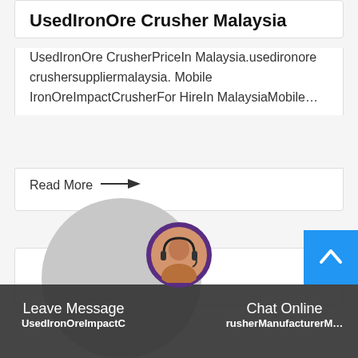UsedIronOre Crusher Malaysia
UsedIronOre CrusherPriceIn Malaysia.usedironore crushersuppliermalaysia. Mobile IronOreImpactCrusherFor HireIn MalaysiaMobile…
Read More →
[Figure (photo): Large gray circle placeholder image for a company or person avatar]
[Figure (photo): Round avatar of a customer support person with headset, purple border]
[Figure (illustration): Blue scroll-to-top button with upward chevron arrow icon]
Leave Message   Chat Online   UsedIronOreImpactCrusherManufacturerM…